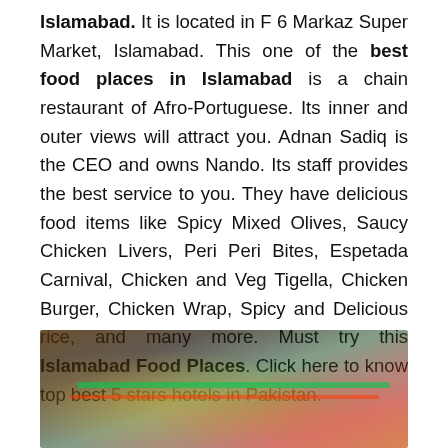Islamabad. It is located in F 6 Markaz Super Market, Islamabad. This one of the best food places in Islamabad is a chain restaurant of Afro-Portuguese. Its inner and outer views will attract you. Adnan Sadiq is the CEO and owns Nando. Its staff provides the best service to you. They have delicious food items like Spicy Mixed Olives, Saucy Chicken Livers, Peri Peri Bites, Espetada Carnival, Chicken and Veg Tigella, Chicken Burger, Chicken Wrap, Spicy and Delicious rice, and many more. Must try this Islamabad Food Places. Click here to know top best 5 stars hotels in Pakistan.
[Figure (photo): Interior/exterior photo of a restaurant with colorful lighting — dark ambiance with green and red neon accents, likely Nando's in Islamabad.]